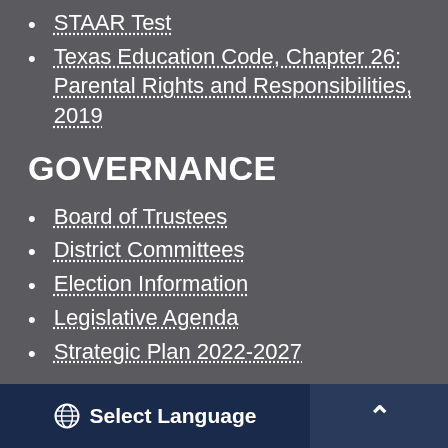STAAR Test
Texas Education Code, Chapter 26: Parental Rights and Responsibilities, 2019
GOVERNANCE
Board of Trustees
District Committees
Election Information
Legislative Agenda
Strategic Plan 2022-2027
BUSINESS RESOURCES
Become a Vendor
Select Language